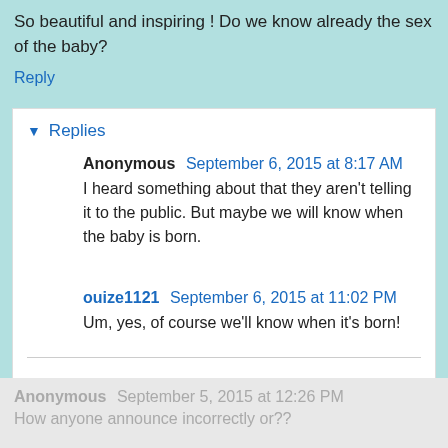So beautiful and inspiring ! Do we know already the sex of the baby?
Reply
Replies
Anonymous September 6, 2015 at 8:17 AM
I heard something about that they aren't telling it to the public. But maybe we will know when the baby is born.
ouize1121 September 6, 2015 at 11:02 PM
Um, yes, of course we'll know when it's born!
Reply
Anonymous September 5, 2015 at 12:26 PM